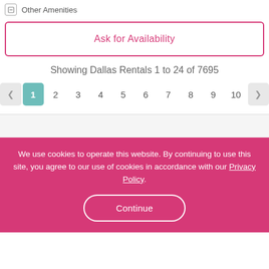Other Amenities
Ask for Availability
Showing Dallas Rentals 1 to 24 of 7695
Pagination: previous, 1 (active), 2, 3, 4, 5, 6, 7, 8, 9, 10, next
We use cookies to operate this website. By continuing to use this site, you agree to our use of cookies in accordance with our Privacy Policy.
Continue